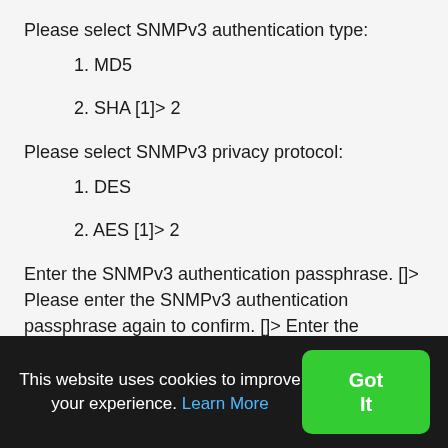Please select SNMPv3 authentication type:
1. MD5
2. SHA [1]> 2
Please select SNMPv3 privacy protocol:
1. DES
2. AES [1]> 2
Enter the SNMPv3 authentication passphrase. []> Please enter the SNMPv3 authentication passphrase again to confirm. []> Enter the SNMPv3 privacy passphrase. []> Please enter the SNMPv3 privacy passphrase again to
This website uses cookies to improve your experience. Learn More
Got It